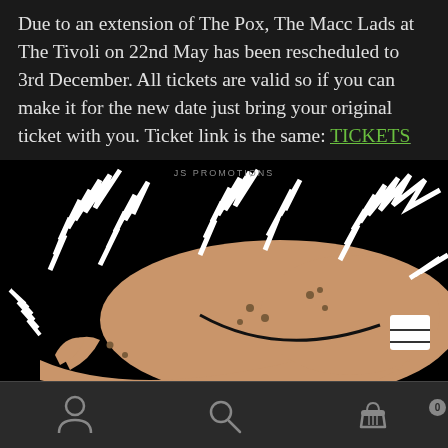Due to an extension of The Pox, The Macc Lads at The Tivoli on 22nd May has been rescheduled to 3rd December. All tickets are valid so if you can make it for the new date just bring your original ticket with you. Ticket link is the same: TICKETS
The dates for Belfast and Dublin have been moved to April 2022.
[Figure (illustration): JS Promotions logo/illustration on black background: cartoon face with jagged lightning bolt lines above it in white, on a dark background. A skin-toned cartoon figure with spiky white lines representing noise or excitement. JS PROMOTIONS text at top.]
Navigation bar with person icon, search icon, and shopping basket icon with badge 0